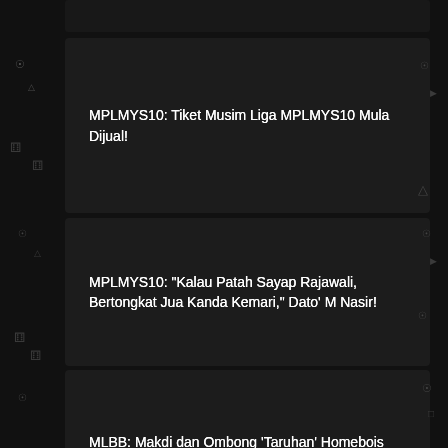MPLMYS10: Tiket Musim Liga MPLMYS10 Mula Dijual!
MPLMYS10: "Kalau Patah Sayap Rajawali, Bertongkat Jua Kanda Kemari," Dato' M Nasir!
MLBB: Makdi dan Ombong 'Taruhan' Homebois MPLMYS10